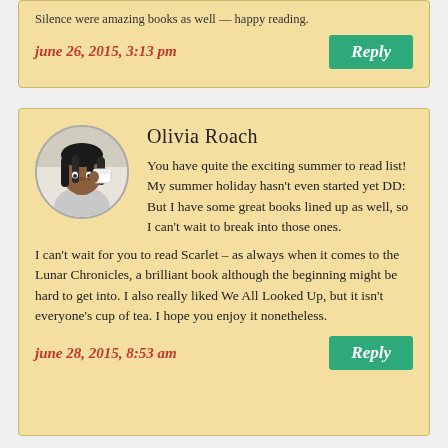Silence were amazing books as well — happy reading.
june 26, 2015, 3:13 pm
Reply
Olivia Roach
You have quite the exciting summer to read list! My summer holiday hasn't even started yet DD: But I have some great books lined up as well, so I can't wait to break into those ones. I can't wait for you to read Scarlet – as always when it comes to the Lunar Chronicles, a brilliant book although the beginning might be hard to get into. I also really liked We All Looked Up, but it isn't everyone's cup of tea. I hope you enjoy it nonetheless.
june 28, 2015, 8:53 am
Reply